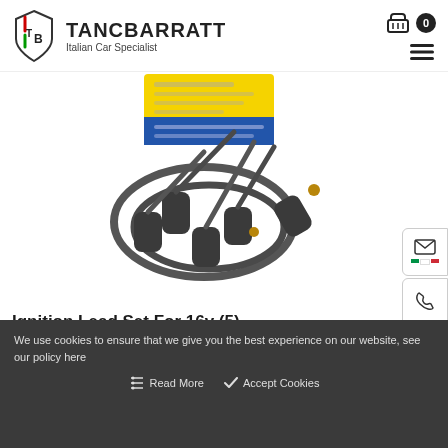[Figure (logo): TancBarratt Italian Car Specialist logo with shield and TB monogram]
[Figure (photo): Ignition lead set product photo showing dark gray spark plug wires with boots, with yellow and blue packaging label in background]
Ignition Lead Set For 16v (5)
Part No: 7301940
We use cookies to ensure that we give you the best experience on our website, see our policy here
Read More
Accept Cookies